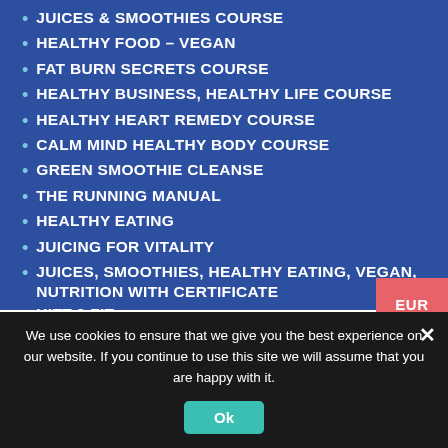JUICES & SMOOTHIES COURSE
HEALTHY FOOD – VEGAN
FAT BURN SECRETS COURSE
HEALTHY BUSINESS, HEALTHY LIFE COURSE
HEALTHY HEART REMEDY COURSE
CALM MIND HEALTHY BODY COURSE
GREEN SMOOTHIE CLEANSE
THE RUNNING MANUAL
HEALTHY EATING
JUICING FOR VITALITY
JUICES, SMOOTHIES, HEALTHY EATING, VEGAN, NUTRITION WITH CERTIFICATE
HITT 2 FIT
KETOGENIC DIET 101
THE BULLETPROOF KETO DIET
JOINT HEALTH 101
We use cookies to ensure that we give you the best experience on our website. If you continue to use this site we will assume that you are happy with it.